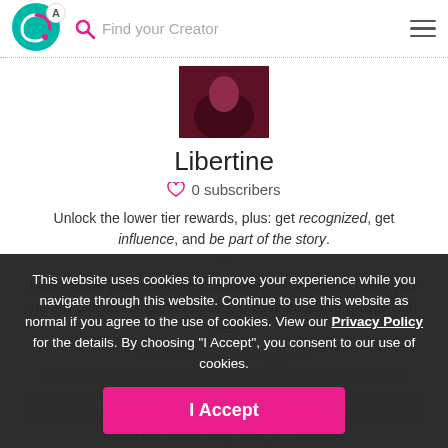A | Find your Creator
[Figure (photo): Profile image thumbnail showing a person in dark reddish lighting]
Libertine
♡ 0 subscribers
Unlock the lower tier rewards, plus: get recognized, get influence, and be part of the story.
–
I will include your name (or pseudonym) in a written 'thank you' on any pieces completed while you have an active pledge with me.
Your votes counts in any polls.
After six consecutive months as an active subscriber, I will make character into an erotic story for everyone to enjoy. It may or may not be a 'starring role', but they'll get their five minutes of fame! You may claim this benefit only once per calendar
This website uses cookies to improve your experience while you navigate through this website. Continue to use this website as normal if you agree to the use of cookies. View our Privacy Policy for the details. By choosing "I Accept", you consent to our use of cookies.
I Accept